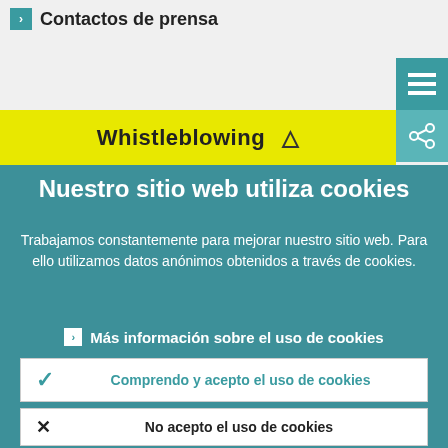Contactos de prensa
[Figure (screenshot): Teal hamburger menu button with three horizontal white lines on teal background]
[Figure (screenshot): Teal share button with share icon on lighter teal background]
Whistleblowing
Nuestro sitio web utiliza cookies
Trabajamos constantemente para mejorar nuestro sitio web. Para ello utilizamos datos anónimos obtenidos a través de cookies.
Más información sobre el uso de cookies
Comprendo y acepto el uso de cookies
No acepto el uso de cookies